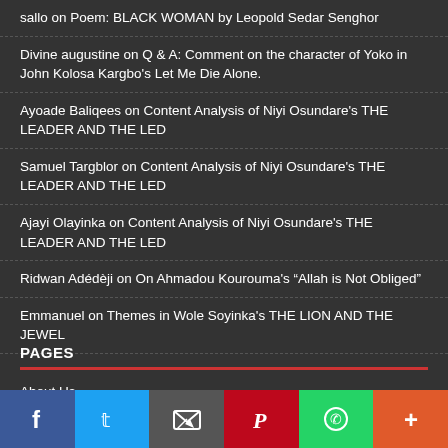sallo on Poem: BLACK WOMAN by Leopold Sedar Senghor
Divine augustine on Q & A: Comment on the character of Yoko in John Kolosa Kargbo’s Let Me Die Alone.
Ayoade Baliqees on Content Analysis of Niyi Osundare’s THE LEADER AND THE LED
Samuel Targblor on Content Analysis of Niyi Osundare’s THE LEADER AND THE LED
Ajayi Olayinka on Content Analysis of Niyi Osundare’s THE LEADER AND THE LED
Ridwan Adédèji on On Ahmadou Kourouma’s “Allah is Not Obliged”
Emmanuel on Themes in Wole Soyinka’s THE LION AND THE JEWEL
PAGES
About Us